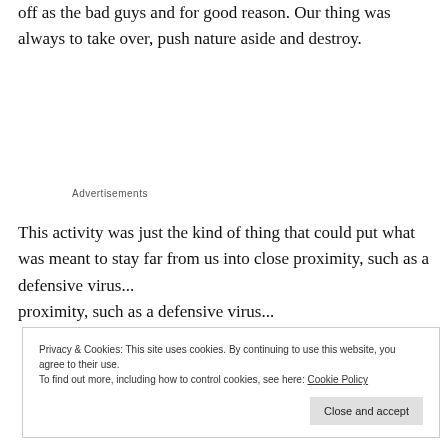off as the bad guys and for good reason. Our thing was always to take over, push nature aside and destroy.
Advertisements
This activity was just the kind of thing that could put what was meant to stay far from us into close proximity, such as a defensive virus...
Privacy & Cookies: This site uses cookies. By continuing to use this website, you agree to their use.
To find out more, including how to control cookies, see here: Cookie Policy
Close and accept